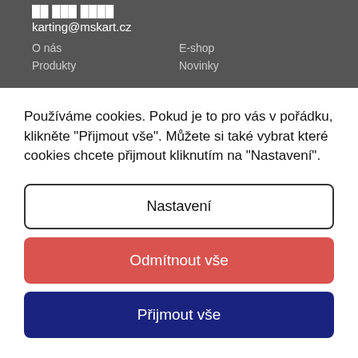karting@mskart.cz
O nás    E-shop
Produkty    Novinky
Používáme cookies. Pokud je to pro vás v pořádku, klikněte "Přijmout vše". Můžete si také vybrat které cookies chcete přijmout kliknutím na "Nastavení".
Nastavení
Odmítnout vše
Přijmout vše